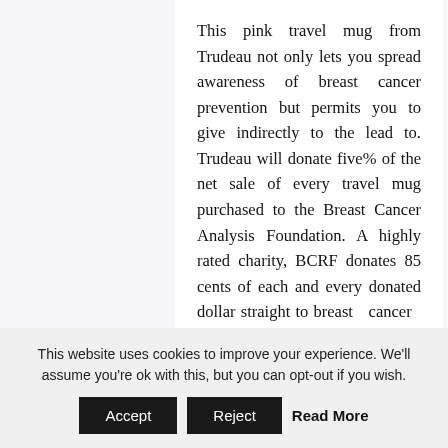This pink travel mug from Trudeau not only lets you spread awareness of breast cancer prevention but permits you to give indirectly to the lead to. Trudeau will donate five% of the net sale of every travel mug purchased to the Breast Cancer Analysis Foundation. A highly rated charity, BCRF donates 85 cents of each and every donated dollar straight to breast cancer awareness and
This website uses cookies to improve your experience. We'll assume you're ok with this, but you can opt-out if you wish.